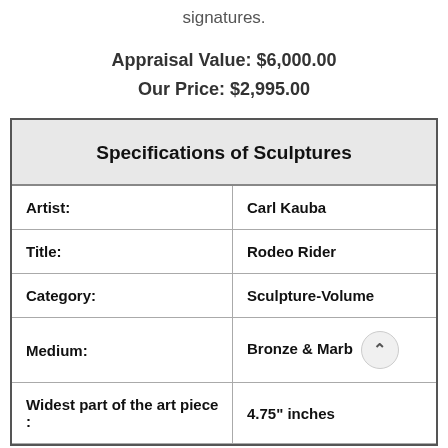signatures.
Appraisal Value: $6,000.00
Our Price: $2,995.00
| Specifications of Sculptures |  |
| --- | --- |
| Artist: | Carl Kauba |
| Title: | Rodeo Rider |
| Category: | Sculpture-Volume |
| Medium: | Bronze & Marb |
| Widest part of the art piece : | 4.75" inches |